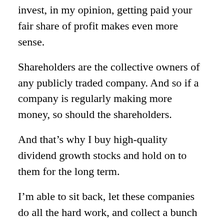invest, in my opinion, getting paid your fair share of profit makes even more sense.
Shareholders are the collective owners of any publicly traded company. And so if a company is regularly making more money, so should the shareholders.
And that's why I buy high-quality dividend growth stocks and hold on to them for the long term.
I'm able to sit back, let these companies do all the hard work, and collect a bunch of growing “paychecks”.
Being a dividend growth investor is literally the easiest “job” I’ve ever had!
As you can see, I always shake my head when I hear about people trading stocks like baseball cards. It’s so hard to go